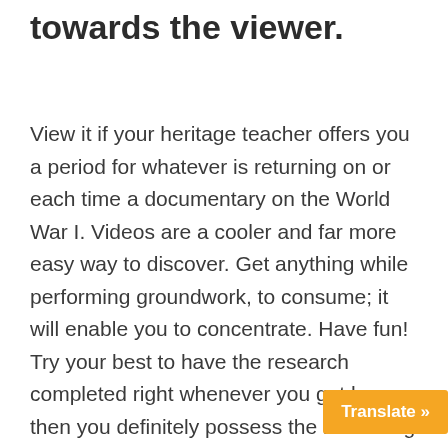towards the viewer.
View it if your heritage teacher offers you a period for whatever is returning on or each time a documentary on the World War I. Videos are a cooler and far more easy way to discover. Get anything while performing groundwork, to consume; it will enable you to concentrate. Have fun! Try your best to have the research completed right whenever you get home, then you definitely possess the remaining portion of the night. Try to work without individuals who may distract you in a room. Approach a delicacy for once you have completed your homework that you like. Make it something th...